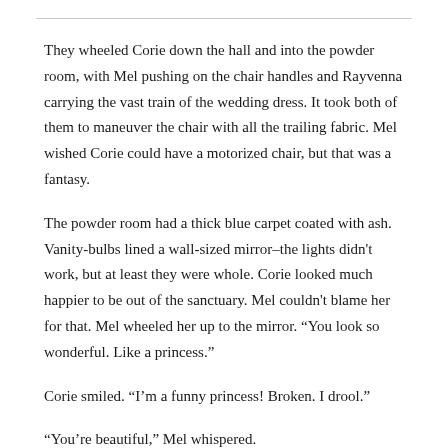They wheeled Corie down the hall and into the powder room, with Mel pushing on the chair handles and Rayvenna carrying the vast train of the wedding dress. It took both of them to maneuver the chair with all the trailing fabric. Mel wished Corie could have a motorized chair, but that was a fantasy.
The powder room had a thick blue carpet coated with ash. Vanity-bulbs lined a wall-sized mirror–the lights didn't work, but at least they were whole. Corie looked much happier to be out of the sanctuary. Mel couldn't blame her for that. Mel wheeled her up to the mirror. “You look so wonderful. Like a princess.”
Corie smiled. “I’m a funny princess! Broken. I drool.”
“You’re beautiful,” Mel whispered.